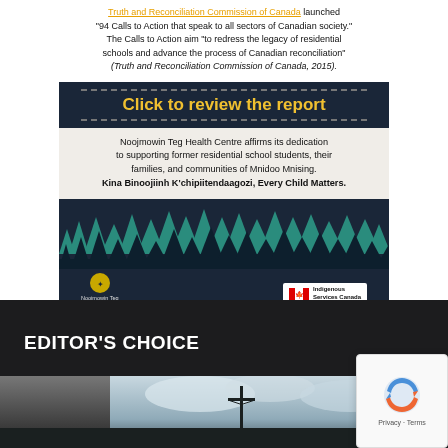[Figure (infographic): Noojmowin Teg Health Centre banner ad about Truth and Reconciliation Commission. Dark navy background with white text section, yellow 'Click to review the report' CTA, forest silhouette illustration, and logos for Noojmowin Teg Health Centre and Indigenous Services Canada.]
Truth and Reconciliation Commission of Canada launched "94 Calls to Action that speak to all sectors of Canadian society." The Calls to Action aim "to redress the legacy of residential schools and advance the process of Canadian reconciliation" (Truth and Reconciliation Commission of Canada, 2015).
Click to review the report
Noojmowin Teg Health Centre affirms its dedication to supporting former residential school students, their families, and communities of Mnidoo Mnising. Kina Binoojiinh K'chipiitendaagozi, Every Child Matters.
EDITOR'S CHOICE
[Figure (photo): Thumbnail strip showing outdoor/landscape photo with dark silhouettes against a cloudy sky]